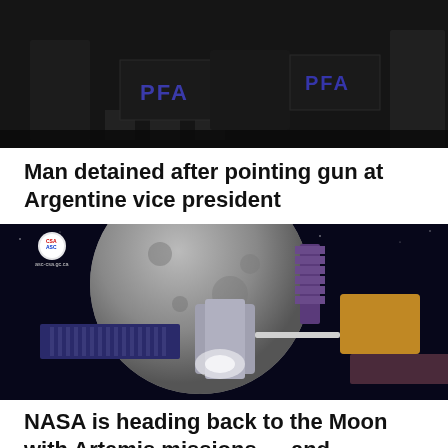[Figure (photo): Dark scene showing uniformed/suited figures with 'PFA' text visible on equipment or clothing, likely a security or police scene]
Man detained after pointing gun at Argentine vice president
[Figure (photo): Artistic rendering of a spacecraft near the Moon with solar panels, labeled with CSA/ASC logo and 'asc-csa.gc.ca'; the Gateway lunar space station concept with Canada's Canadarm3]
NASA is heading back to the Moon with Artemis missions — and Canada's coming, too